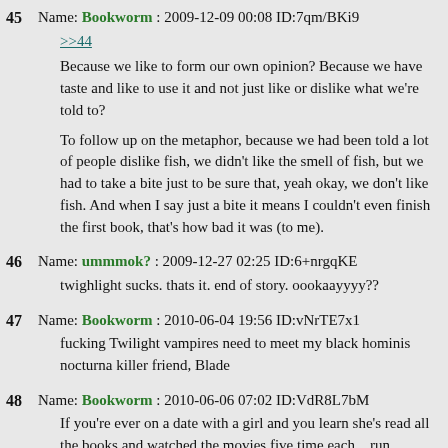45 Name: Bookworm : 2009-12-09 00:08 ID:7qm/BKi9
>>44
Because we like to form our own opinion? Because we have taste and like to use it and not just like or dislike what we're told to?

To follow up on the metaphor, because we had been told a lot of people dislike fish, we didn't like the smell of fish, but we had to take a bite just to be sure that, yeah okay, we don't like fish. And when I say just a bite it means I couldn't even finish the first book, that's how bad it was (to me).
46 Name: ummmok? : 2009-12-27 02:25 ID:6+nrgqKE
twighlight sucks. thats it. end of story. oookaayyyy??
47 Name: Bookworm : 2010-06-04 19:56 ID:vNrTE7x1
fucking Twilight vampires need to meet my black hominis nocturna killer friend, Blade
48 Name: Bookworm : 2010-06-06 07:02 ID:VdR8L7bM
If you're ever on a date with a girl and you learn she's read all the books and watched the movies five time each... run.

Twilight is to women what Star Trek is to men